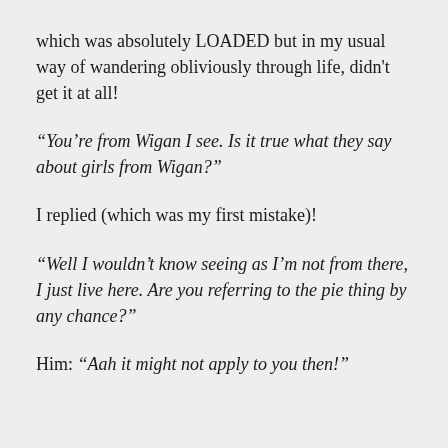which was absolutely LOADED but in my usual way of wandering obliviously through life, didn't get it at all!
“You’re from Wigan I see. Is it true what they say about girls from Wigan?”
I replied (which was my first mistake)!
“Well I wouldn’t know seeing as I’m not from there, I just live here. Are you referring to the pie thing by any chance?”
Him: “Aah it might not apply to you then!”